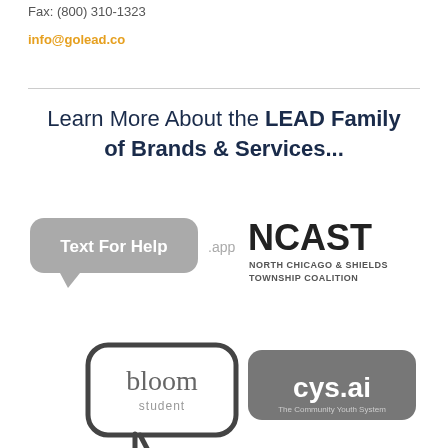Fax: (800) 310-1323
info@golead.co
Learn More About the LEAD Family of Brands & Services...
[Figure (logo): Text For Help app logo - speech bubble with 'Text For Help' text and '.app' beside it, in gray tones]
[Figure (logo): NCAST - North Chicago & Shields Township Coalition logo in dark gray/black text]
[Figure (logo): bloom student logo - speech bubble outline with 'bloom student' text in gray]
[Figure (logo): cys.ai - The Community Youth System logo, white text on dark gray rounded rectangle]